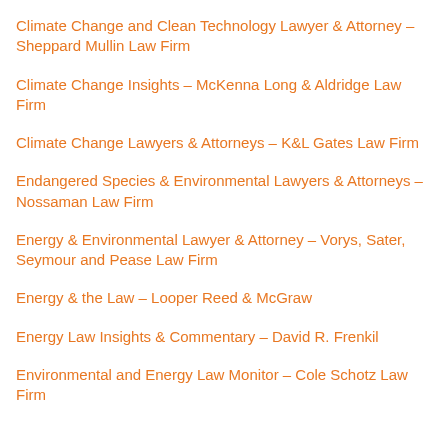Climate Change and Clean Technology Lawyer & Attorney – Sheppard Mullin Law Firm
Climate Change Insights – McKenna Long & Aldridge Law Firm
Climate Change Lawyers & Attorneys – K&L Gates Law Firm
Endangered Species & Environmental Lawyers & Attorneys – Nossaman Law Firm
Energy & Environmental Lawyer & Attorney – Vorys, Sater, Seymour and Pease Law Firm
Energy & the Law – Looper Reed & McGraw
Energy Law Insights & Commentary – David R. Frenkil
Environmental and Energy Law Monitor – Cole Schotz Law Firm